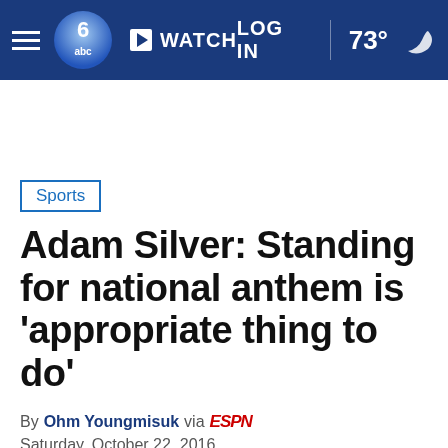6abc WATCH LOG IN 73°
Sports
Adam Silver: Standing for national anthem is 'appropriate thing to do'
By Ohm Youngmisuk via ESPN
Saturday, October 22, 2016